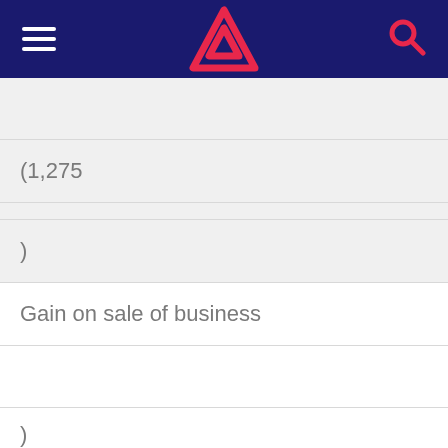[Figure (logo): Navigation bar with hamburger menu, red triangle logo, and search icon on dark navy background]
|  | (1,275 |  |
|  | ) |  |
| Gain on sale of business |  |  |
|  |  |  |
|  | ) |  |
|  | (60,487 |  |